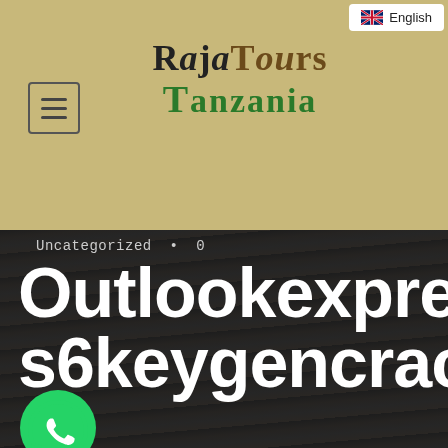[Figure (screenshot): Raja Tours Tanzania website header with logo showing 'RajaTours' in black/brown serif font and 'Tanzania' in green, on a tan/khaki background. Menu hamburger icon on left. English language selector in top right corner.]
Uncategorized • 0
Outlookexpress6keygencrack
[Figure (logo): WhatsApp phone icon in green circle]